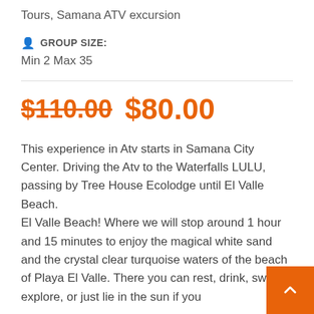Tours, Samana ATV excursion
GROUP SIZE:
Min 2 Max 35
$110.00  $80.00
This experience in Atv starts in Samana City Center. Driving the Atv to the Waterfalls LULU, passing by Tree House Ecolodge until El Valle Beach. El Valle Beach! Where we will stop around 1 hour and 15 minutes to enjoy the magical white sand and the crystal clear turquoise waters of the beach of Playa El Valle. There you can rest, drink, swim, explore, or just lie in the sun if you